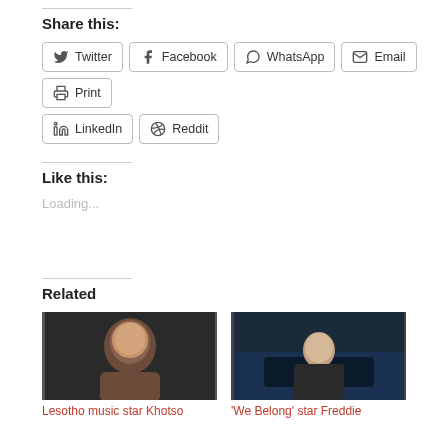Share this:
Twitter
Facebook
WhatsApp
Email
Print
LinkedIn
Reddit
Like this:
Loading...
Related
[Figure (photo): Portrait photo of Lesotho music star Khotso, a man with a shaved head against a dark background]
Lesotho music star Khotso
[Figure (photo): Photo of 'We Belong' star Freddie, a person in a leather jacket and sunglasses leaning on a car]
'We Belong' star Freddie